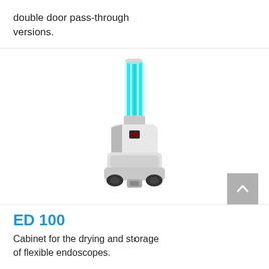double door pass-through versions.
[Figure (photo): UV disinfection robot with cyan/teal UV lamp tubes mounted on a white mobile robotic base with wheels and a small control panel display]
ED 100
Cabinet for the drying and storage of flexible endoscopes.